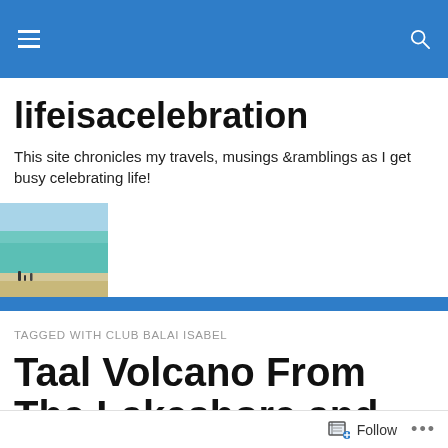lifeisacelebration — navigation bar
lifeisacelebration
This site chronicles my travels, musings &ramblings as I get busy celebrating life!
[Figure (photo): Small thumbnail of a beach scene with people walking along the shoreline and turquoise water]
TAGGED WITH CLUB BALAI ISABEL
Taal Volcano From The Lakeshore and From The Ridge
Follow ...